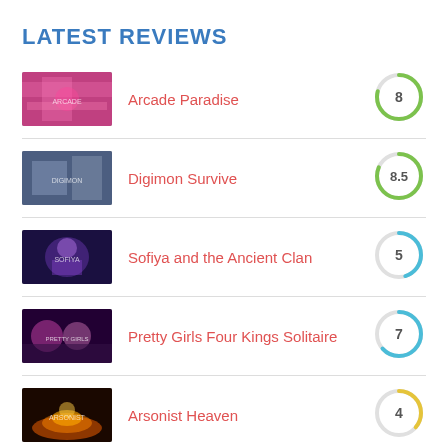LATEST REVIEWS
Arcade Paradise — 8
Digimon Survive — 8.5
Sofiya and the Ancient Clan — 5
Pretty Girls Four Kings Solitaire — 7
Arsonist Heaven — 4